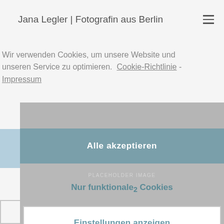Jana Legler | Fotografin aus Berlin
Wir verwenden Cookies, um unsere Website und unseren Service zu optimieren.  Cookie-Richtlinie - Impressum
[Figure (screenshot): Cookie consent overlay panel with two buttons: 'Alle akzeptieren' (accept all) and 'Einstellungen anzeigen' (show settings), with a placeholder image area in the middle showing 'Nur funktionale Cookies' text]
Alle akzeptieren
Nur funktionale Cookies
Einstellungen anzeigen